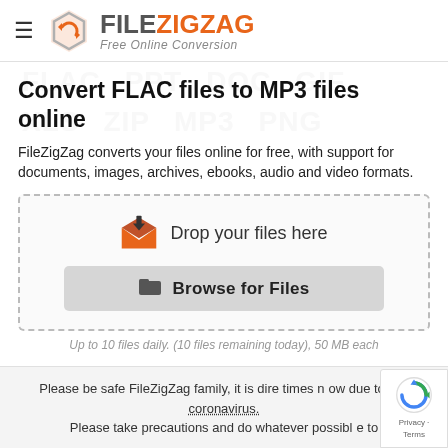[Figure (logo): FileZigZag logo with hexagonal orange icon and text 'FILEZIGZAG Free Online Conversion']
Convert FLAC files to MP3 files online
FileZigZag converts your files online for free, with support for documents, images, archives, ebooks, audio and video formats.
[Figure (infographic): Dashed-border drop zone with orange envelope/download icon and 'Drop your files here' label, and a 'Browse for Files' button]
Up to 10 files daily. (10 files remaining today), 50 MB each
Please be safe FileZigZag family, it is dire times now due to this coronavirus. Please take precautions and do whatever possible to stay safe.